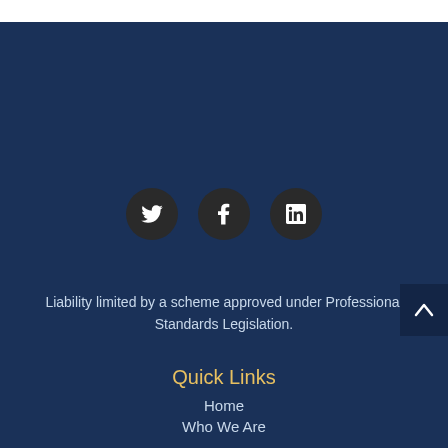[Figure (other): Social media icons: Twitter (bird), Facebook (f), LinkedIn (in) — white icons on dark circular backgrounds]
Liability limited by a scheme approved under Professional Standards Legislation.
Quick Links
Home
Who We Are